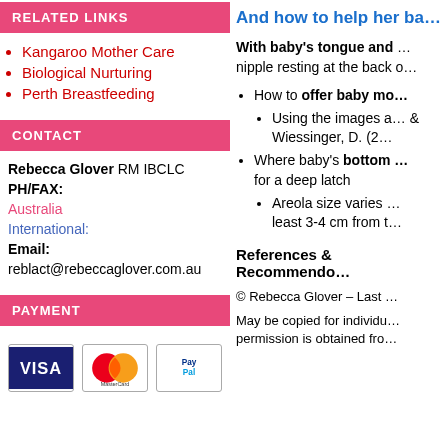RELATED LINKS
Kangaroo Mother Care
Biological Nurturing
Perth Breastfeeding
CONTACT
Rebecca Glover RM IBCLC
PH/FAX:
Australia
International:
Email:
reblact@rebeccaglover.com.au
PAYMENT
[Figure (other): Payment icons: Visa, MasterCard, PayPal]
And how to help her ba…
With baby's tongue and … nipple resting at the back o…
How to offer baby mo…
Using the images a… & Wiessinger, D. (2…
Where baby's bottom … for a deep latch
Areola size varies … least 3-4 cm from t…
References & Recommendo…
© Rebecca Glover – Last …
May be copied for individu… permission is obtained fro…